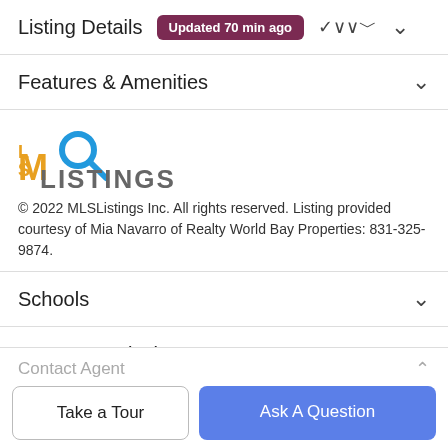Listing Details  Updated 70 min ago
Features & Amenities
[Figure (logo): MLSListings logo with magnifying glass icon in blue and orange/gold text]
© 2022 MLSListings Inc. All rights reserved. Listing provided courtesy of Mia Navarro of Realty World Bay Properties: 831-325-9874.
Schools
Payment Calculator
Contact Agent
Take a Tour
Ask A Question